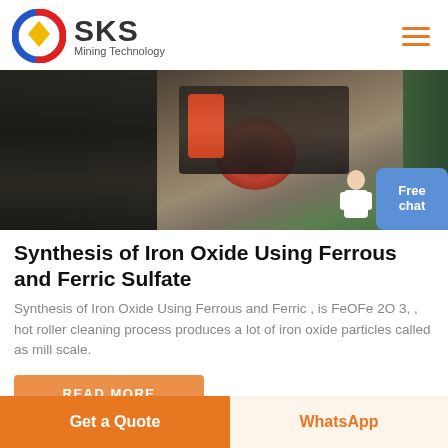SKS Mining Technology
[Figure (photo): Industrial mining/conveyor machinery at an outdoor worksite near water, showing rollers and gravel processing equipment.]
Synthesis of Iron Oxide Using Ferrous and Ferric Sulfate
Synthesis of Iron Oxide Using Ferrous and Ferric , is FeOFe 2O 3, , hot roller cleaning process produces a lot of iron oxide particles called as mill scale.
READ MORE
Get a Quote
WhatsApp